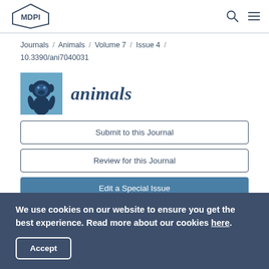MDPI [logo] [search icon] [menu icon]
Journals / Animals / Volume 7 / Issue 4 / 10.3390/ani7040031
[Figure (logo): Animals journal logo — blue square with chimpanzee illustration and italic 'animals' text in dark blue beside it]
Submit to this Journal
Review for this Journal
Edit a Special Issue
We use cookies on our website to ensure you get the best experience. Read more about our cookies here.
Accept